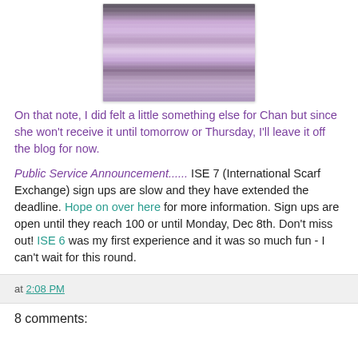[Figure (photo): A knitted or felted item with purple, lavender, and grey striped pattern on a wooden background, photographed from above.]
On that note, I did felt a little something else for Chan but since she won't receive it until tomorrow or Thursday, I'll leave it off the blog for now.
Public Service Announcement...... ISE 7 (International Scarf Exchange) sign ups are slow and they have extended the deadline. Hope on over here for more information. Sign ups are open until they reach 100 or until Monday, Dec 8th. Don't miss out! ISE 6 was my first experience and it was so much fun - I can't wait for this round.
at 2:08 PM
8 comments: